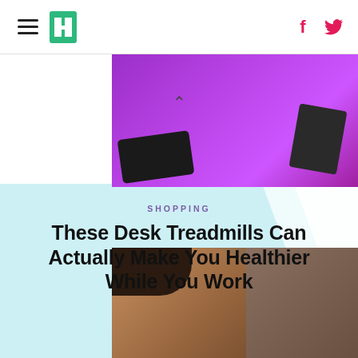HuffPost navigation header with menu icon, logo, Facebook and Twitter icons
[Figure (photo): Partial view of a desk treadmill product image on a purple/magenta gradient background]
SHOPPING
These Desk Treadmills Can Actually Make You Healthier While You Work
[Figure (photo): Close-up photo of a person touching/cupping their ear, heard aid context, dark grey brown background]